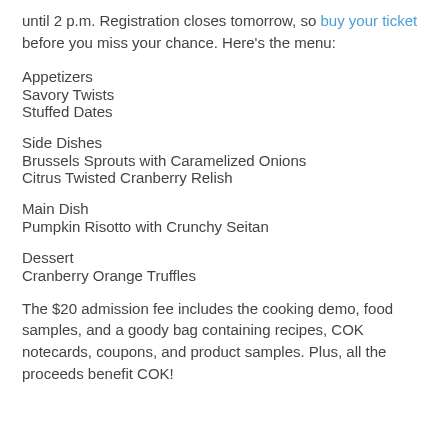until 2 p.m. Registration closes tomorrow, so buy your ticket before you miss your chance. Here's the menu:
Appetizers
Savory Twists
Stuffed Dates
Side Dishes
Brussels Sprouts with Caramelized Onions
Citrus Twisted Cranberry Relish
Main Dish
Pumpkin Risotto with Crunchy Seitan
Dessert
Cranberry Orange Truffles
The $20 admission fee includes the cooking demo, food samples, and a goody bag containing recipes, COK notecards, coupons, and product samples. Plus, all the proceeds benefit COK!